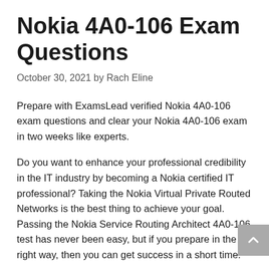Nokia 4A0-106 Exam Questions
October 30, 2021 by Rach Eline
Prepare with ExamsLead verified Nokia 4A0-106 exam questions and clear your Nokia 4A0-106 exam in two weeks like experts.
Do you want to enhance your professional credibility in the IT industry by becoming a Nokia certified IT professional? Taking the Nokia Virtual Private Routed Networks is the best thing to achieve your goal. Passing the Nokia Service Routing Architect 4A0-106 test has never been easy, but if you prepare in the right way, then you can get success in a short time.